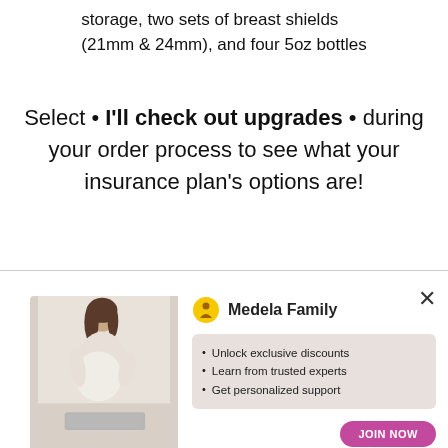storage, two sets of breast shields (21mm & 24mm), and four 5oz bottles
Select • I'll check out upgrades • during your order process to see what your insurance plan's options are!
[Figure (illustration): Medela Family promotional popup showing a pregnant woman sitting with a laptop, Medela Family logo with yellow icon, a beige benefits box listing: Unlock exclusive discounts, Learn from trusted experts, Get personalized support, and a pink JOIN NOW button. A close X button is in the top right.]